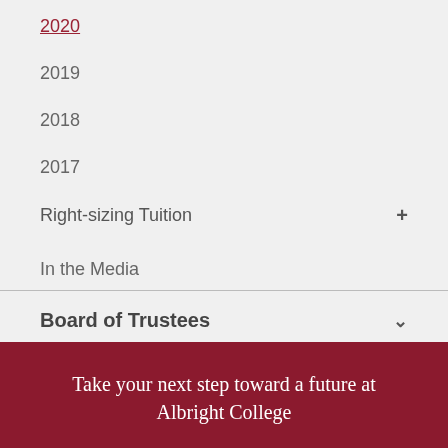2020
2019
2018
2017
Right-sizing Tuition +
In the Media
Board of Trustees
Commencement
Take your next step toward a future at Albright College